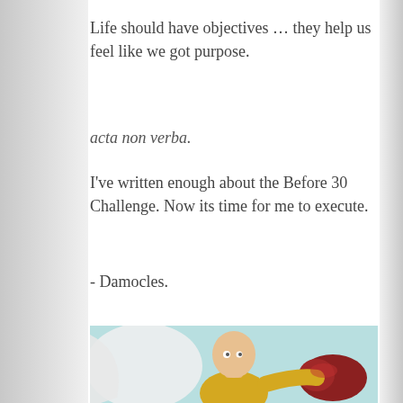Life should have objectives … they help us feel like we got purpose.
acta non verba.
I've written enough about the Before 30 Challenge. Now its time for me to execute.
- Damocles.
[Figure (illustration): Anime illustration of One Punch Man (Saitama) in a yellow jumpsuit with a white cape, punching forward with a red glove, on a light teal background.]